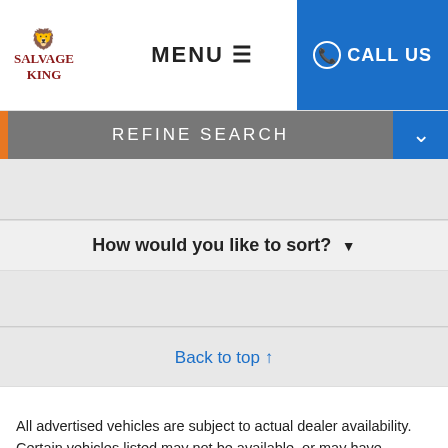SALVAGE KING | MENU | CALL US
REFINE SEARCH
How would you like to sort?
Back to top ↑
All advertised vehicles are subject to actual dealer availability. Certain vehicles listed may not be available, or may have different Prices exclude state tax, license, $80 document preparation smog fee, and finance charges, if applicable. Vehicle option and